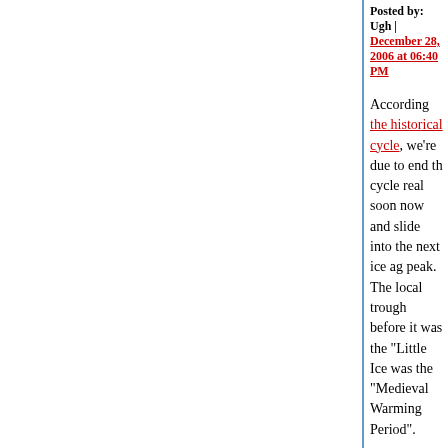Posted by: Ugh | December 28, 2006 at 06:40 PM
According the historical cycle, we're due to end the cycle real soon now and slide into the next ice ag peak. The local trough before it was the "Little Ice was the "Medieval Warming Period".
The little squiggles at the right edge of the graph specifically the 2 degree celcius difference betwe present.
Posted by: DaveC | December 28, 2006 at 07:08 PM
DaveC, unlike, say, the modern history of Vietnam training (self or otherwise), or particularly great kr know I'm not competent to discuss global warmin I've never issued an opinion about it, anywhere.
You, obviously, know more than I do. I bow to you
Could you discuss your training (self or otherwise sources of knowledge that give you significant ex topic, please, which thus make your pronouncemen unlike mine?